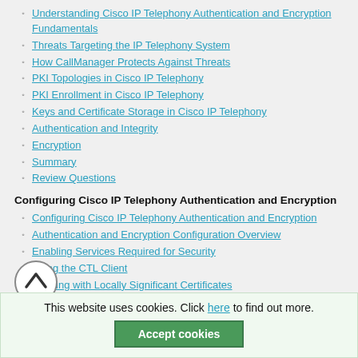Understanding Cisco IP Telephony Authentication and Encryption Fundamentals
Threats Targeting the IP Telephony System
How CallManager Protects Against Threats
PKI Topologies in Cisco IP Telephony
PKI Enrollment in Cisco IP Telephony
Keys and Certificate Storage in Cisco IP Telephony
Authentication and Integrity
Encryption
Summary
Review Questions
Configuring Cisco IP Telephony Authentication and Encryption
Configuring Cisco IP Telephony Authentication and Encryption
Authentication and Encryption Configuration Overview
Enabling Services Required for Security
Using the CTL Client
Working with Locally Significant Certificates
Configuring the Device Security Mode
Negotiating Device Security Mode
Review Questions